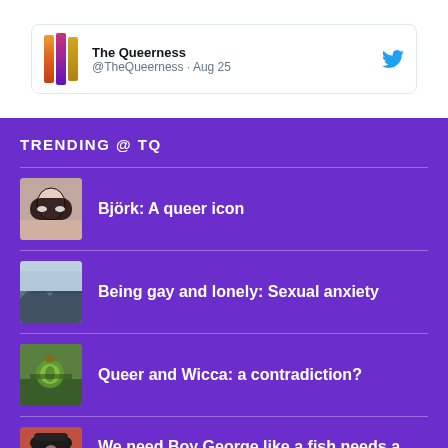[Figure (screenshot): Tweet card showing The Queerness @TheQueerness · Aug 25 with Twitter bird logo]
TRENDING @ TQ
Björk: A queer icon
Being gay and lonely: Sexual anxiety
Queer and Wicca: a contradiction?
We need Boy George like a fish needs a bicycle